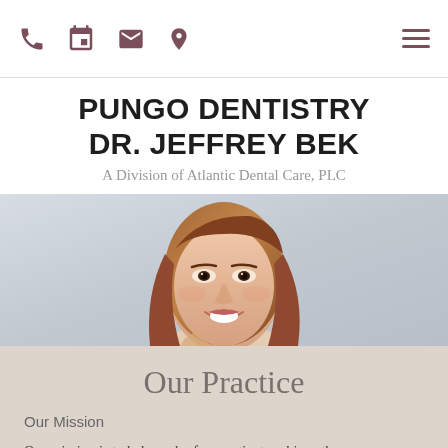Navigation bar with phone, calendar, email, location icons and hamburger menu
PUNGO DENTISTRY
DR. JEFFREY BEK
A Division of Atlantic Dental Care, PLC
[Figure (photo): Smiling young woman with long brown hair, white teeth, dental patient hero image]
Our Practice
Our Mission
Our mission is to help each of our patients achieve the